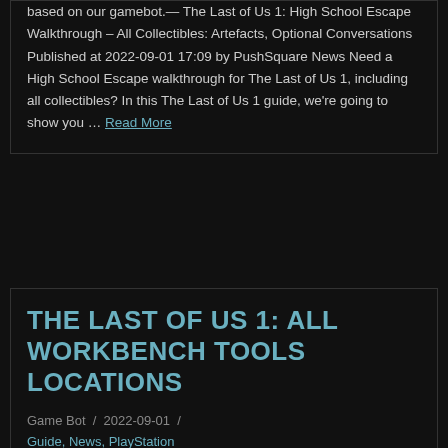based on our gamebot.— The Last of Us 1: High School Escape Walkthrough – All Collectibles: Artefacts, Optional Conversations Published at 2022-09-01 17:09 by PushSquare News Need a High School Escape walkthrough for The Last of Us 1, including all collectibles? In this The Last of Us 1 guide, we're going to show you … Read More
THE LAST OF US 1: ALL WORKBENCH TOOLS LOCATIONS
Game Bot / 2022-09-01 / Guide, News, PlayStation